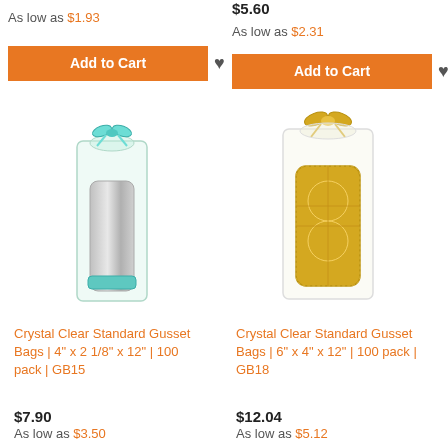As low as $1.93
[Figure (other): Add to Cart button with heart icon]
$5.60
As low as $2.31
[Figure (other): Add to Cart button with heart icon]
[Figure (photo): Crystal clear gusset bag containing stainless steel tumbler with teal ribbon, product GB15]
[Figure (photo): Crystal clear gusset bag containing gold decorative lantern with gold ribbon, product GB18]
Crystal Clear Standard Gusset Bags | 4" x 2 1/8" x 12" | 100 pack | GB15
Crystal Clear Standard Gusset Bags | 6" x 4" x 12" | 100 pack | GB18
$7.90
As low as $3.50
$12.04
As low as $5.12